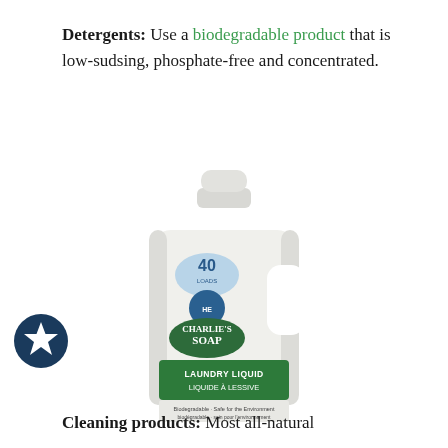Detergents: Use a biodegradable product that is low-sudsing, phosphate-free and concentrated.
[Figure (photo): A white plastic jug of Charlie's Soap Laundry Liquid with green label, showing '40 loads' on the front, alongside a dark teal circular badge with a white star on the left side of the page.]
Cleaning products: Most all-natural